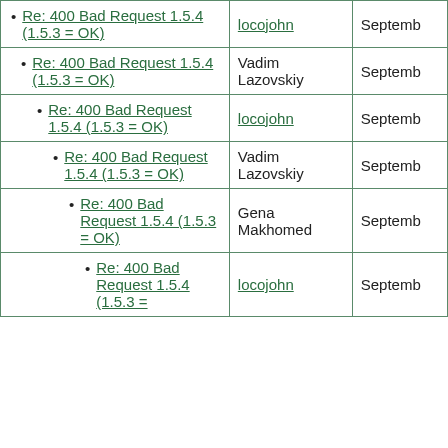| Subject | Author | Date |
| --- | --- | --- |
| Re: 400 Bad Request 1.5.4 (1.5.3 = OK) | locojohn | Septemb |
| Re: 400 Bad Request 1.5.4 (1.5.3 = OK) | Vadim Lazovskiy | Septemb |
| Re: 400 Bad Request 1.5.4 (1.5.3 = OK) | locojohn | Septemb |
| Re: 400 Bad Request 1.5.4 (1.5.3 = OK) | Vadim Lazovskiy | Septemb |
| Re: 400 Bad Request 1.5.4 (1.5.3 = OK) | Gena Makhomed | Septemb |
| Re: 400 Bad Request 1.5.4 (1.5.3 = | locojohn | Septemb |